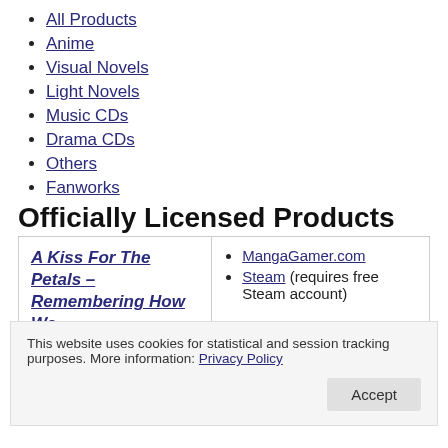All Products
Anime
Visual Novels
Light Novels
Music CDs
Drama CDs
Others
Fanworks
Officially Licensed Products
| A Kiss For The Petals – Remembering How We Met | MangaGamer.com | Steam (requires free Steam account) |
This website uses cookies for statistical and session tracking purposes. More information: Privacy Policy